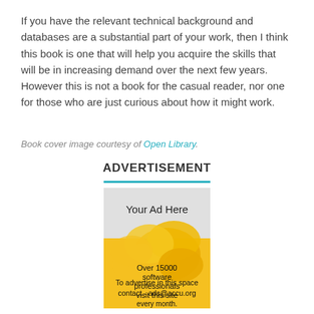If you have the relevant technical background and databases are a substantial part of your work, then I think this book is one that will help you acquire the skills that will be in increasing demand over the next few years. However this is not a book for the casual reader, nor one for those who are just curious about how it might work.
Book cover image courtesy of Open Library.
ADVERTISEMENT
[Figure (other): Advertisement box with yellow flower background. Text reads: Your Ad Here. Over 15000 software professionals visit this site every month. To advertise in this space contact - ads@accu.org]